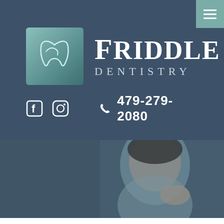[Figure (logo): Friddle Dentistry logo with stylized tooth icon in teal square and text 'FRIDDLE DENTISTRY']
479-279-2080
[Figure (photo): Woman with eyes closed touching her jaw/cheek, dental pain photo with blue-gray overlay]